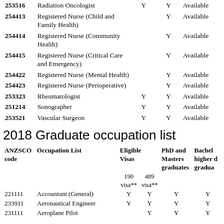| ANZSCO code | Occupation List |  |  |  |
| --- | --- | --- | --- | --- |
| 253516 | Radiation Oncologist | Y | Y | Available |
| 254413 | Registered Nurse (Child and Family Health) |  | Y | Available |
| 254414 | Registered Nurse (Community Health) |  | Y | Available |
| 254415 | Registered Nurse (Critical Care and Emergency) |  | Y | Available |
| 254422 | Registered Nurse (Mental Health) |  | Y | Available |
| 254423 | Registered Nurse (Perioperative) |  | Y | Available |
| 253323 | Rheumatologist | Y | Y | Available |
| 251214 | Sonographer | Y | Y | Available |
| 253521 | Vascular Surgeon | Y | Y | Available |
2018 Graduate occupation list
| ANZSCO code | Occupation List | Eligible Visas 190 visa** | Eligible Visas 489 visa** | PhD and Masters graduates | Bachelor and higher degree graduates |
| --- | --- | --- | --- | --- | --- |
| 221111 | Accountant (General) | Y | Y | Y | Y |
| 233911 | Aeronautical Engineer | Y | Y | Y | Y |
| 231111 | Aeroplane Pilot |  | Y | Y | Y |